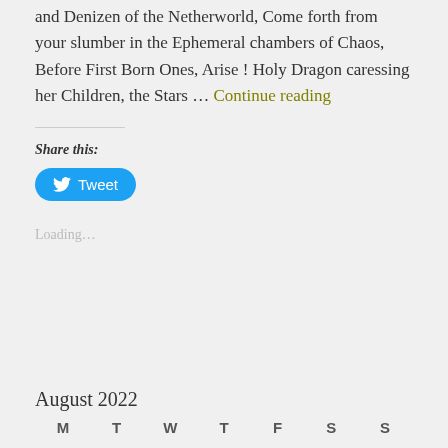and Denizen of the Netherworld, Come forth from your slumber in the Ephemeral chambers of Chaos, Before First Born Ones, Arise ! Holy Dragon caressing her Children, the Stars ... Continue reading
Share this:
[Figure (other): Twitter Tweet button with bird icon]
Loading...
August 2022
| M | T | W | T | F | S | S |
| --- | --- | --- | --- | --- | --- | --- |